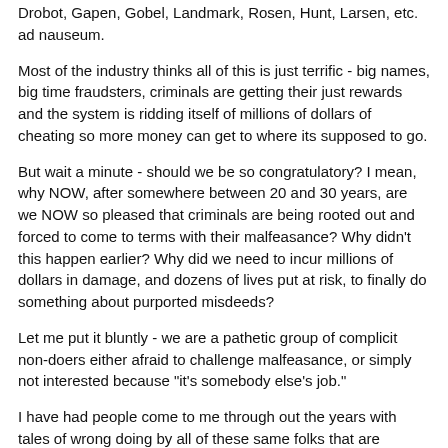Drobot, Gapen, Gobel, Landmark, Rosen, Hunt, Larsen, etc. ad nauseum.
Most of the industry thinks all of this is just terrific - big names, big time fraudsters, criminals are getting their just rewards and the system is ridding itself of millions of dollars of cheating so more money can get to where its supposed to go.
But wait a minute - should we be so congratulatory? I mean, why NOW, after somewhere between 20 and 30 years, are we NOW so pleased that criminals are being rooted out and forced to come to terms with their malfeasance? Why didn't this happen earlier? Why did we need to incur millions of dollars in damage, and dozens of lives put at risk, to finally do something about purported misdeeds?
Let me put it bluntly - we are a pathetic group of complicit non-doers either afraid to challenge malfeasance, or simply not interested because "it's somebody else's job."
I have had people come to me through out the years with tales of wrong doing by all of these same folks that are